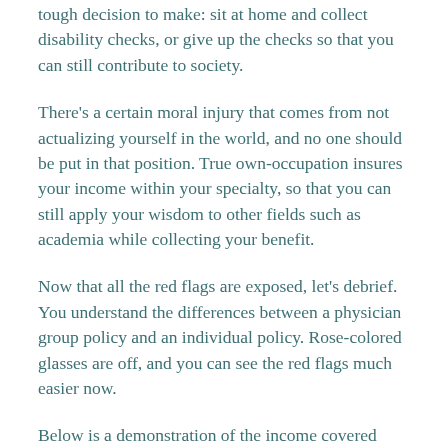tough decision to make: sit at home and collect disability checks, or give up the checks so that you can still contribute to society.
There's a certain moral injury that comes from not actualizing yourself in the world, and no one should be put in that position. True own-occupation insures your income within your specialty, so that you can still apply your wisdom to other fields such as academia while collecting your benefit.
Now that all the red flags are exposed, let's debrief. You understand the differences between a physician group policy and an individual policy. Rose-colored glasses are off, and you can see the red flags much easier now.
Below is a demonstration of the income covered